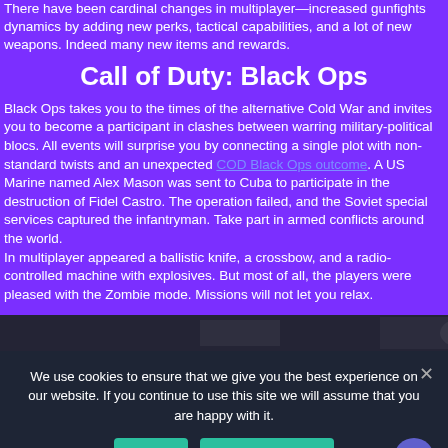There have been cardinal changes in multiplayer—increased gunfights dynamics by adding new perks, tactical capabilities, and a lot of new weapons. Indeed many new items and rewards.
Call of Duty: Black Ops
Black Ops takes you to the times of the alternative Cold War and invites you to become a participant in clashes between warring military-political blocs. All events will surprise you by connecting a single plot with non-standard twists and an unexpected COD Black Ops outcome. A US Marine named Alex Mason was sent to Cuba to participate in the destruction of Fidel Castro. The operation failed, and the Soviet special services captured the infantryman. Take part in armed conflicts around the world.
In multiplayer appeared a ballistic knife, a crossbow, and a radio-controlled machine with explosives. But most of all, the players were pleased with the Zombie mode. Missions will not let you relax.
[Figure (screenshot): Dark screenshot strip from game footage]
We use cookies to ensure that we give you the best experience on our website. If you continue to use this site we will assume that you are happy with it.
Ok
Privacy policy